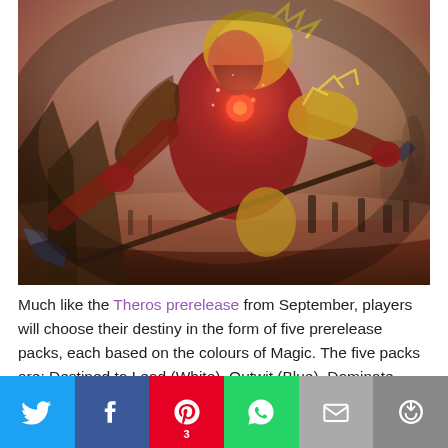[Figure (illustration): Fantasy warrior in red and gold armor wielding a large polearm/halberd, charging across a barren battlefield with gravestones in the background under a stormy sky.]
Much like the Theros prerelease from September, players will choose their destiny in the form of five prerelease packs, each based on the colours of Magic. The five packs are: Destined to Lead (White), Outwit (Blue), Dominate (Black), Conquer (Red) or Thrive (Green).
[Figure (infographic): Social media share bar with buttons: Twitter (blue), Facebook (dark blue), Pinterest (red, with count 3), WhatsApp (green), Email (grey), More/share (dark grey)]